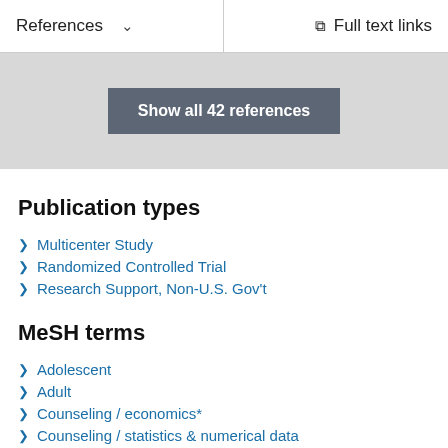References   ∨   Full text links
Show all 42 references
Publication types
Multicenter Study
Randomized Controlled Trial
Research Support, Non-U.S. Gov't
MeSH terms
Adolescent
Adult
Counseling / economics*
Counseling / statistics & numerical data